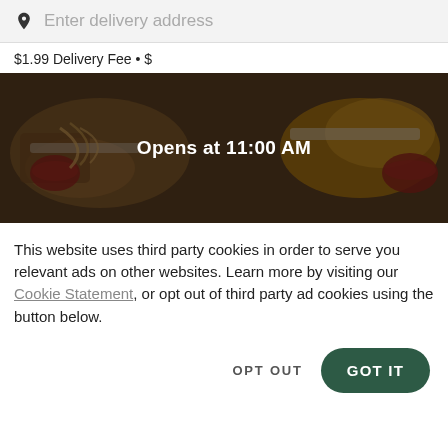Enter delivery address
$1.99 Delivery Fee • $
[Figure (photo): Food photo showing various dishes including sandwiches/wraps and dipping sauce, with a dark overlay and text 'Opens at 11:00 AM' centered]
This website uses third party cookies in order to serve you relevant ads on other websites. Learn more by visiting our Cookie Statement, or opt out of third party ad cookies using the button below.
OPT OUT
GOT IT